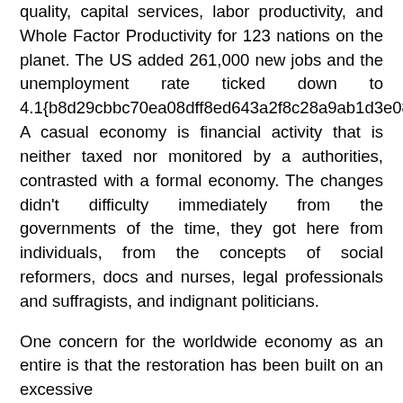quality, capital services, labor productivity, and Whole Factor Productivity for 123 nations on the planet. The US added 261,000 new jobs and the unemployment rate ticked down to 4.1{b8d29cbbc70ea08dff8ed643a2f8c28a9ab1d3e088b12bf070b448a58638513d}. A casual economy is financial activity that is neither taxed nor monitored by a authorities, contrasted with a formal economy. The changes didn't difficulty immediately from the governments of the time, they got here from individuals, from the concepts of social reformers, docs and nurses, legal professionals and suffragists, and indignant politicians.
One concern for the worldwide economy as an entire is that the restoration has been built on an excessive